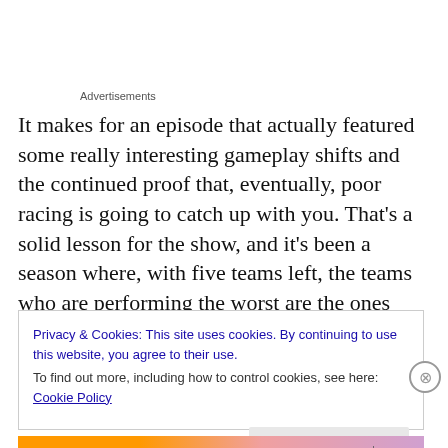Advertisements
It makes for an episode that actually featured some really interesting gameplay shifts and the continued proof that, eventually, poor racing is going to catch up with you. That's a solid lesson for the show, and it's been a season where, with five teams left, the teams who are performing the worst are the ones who are going home.
Privacy & Cookies: This site uses cookies. By continuing to use this website, you agree to their use.
To find out more, including how to control cookies, see here: Cookie Policy
Close and accept